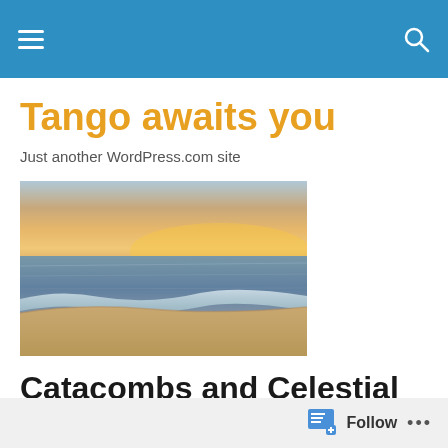Navigation bar with hamburger menu and search icon
Tango awaits you
Just another WordPress.com site
[Figure (photo): Beach scene at sunset with ocean waves lapping sandy shore, warm orange and pink sky on the horizon]
Catacombs and Celestial Spheres
Follow  •••